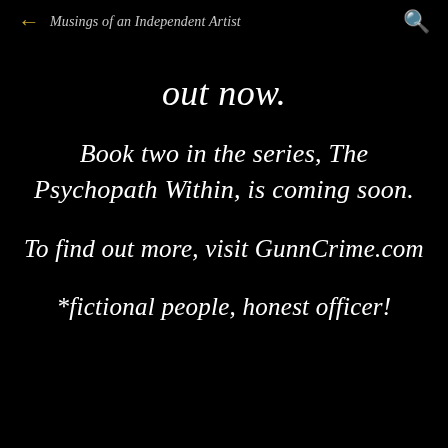← Musings of an Independent Artist 🔍
out now.
Book two in the series, The Psychopath Within, is coming soon.
To find out more, visit GunnCrime.com
*fictional people, honest officer!